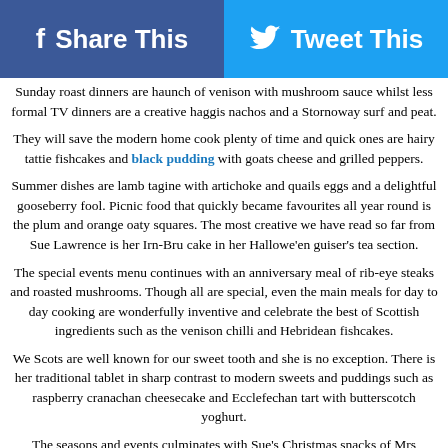[Figure (infographic): Social media sharing buttons: Facebook 'Share This' button (blue) and Twitter 'Tweet This' button (light blue)]
Sunday roast dinners are haunch of venison with mushroom sauce whilst less formal TV dinners are a creative haggis nachos and a Stornoway surf and peat.
They will save the modern home cook plenty of time and quick ones are hairy tattie fishcakes and black pudding with goats cheese and grilled peppers.
Summer dishes are lamb tagine with artichoke and quails eggs and a delightful gooseberry fool. Picnic food that quickly became favourites all year round is the plum and orange oaty squares. The most creative we have read so far from Sue Lawrence is her Irn-Bru cake in her Hallowe'en guiser's tea section.
The special events menu continues with an anniversary meal of rib-eye steaks and roasted mushrooms. Though all are special, even the main meals for day to day cooking are wonderfully inventive and celebrate the best of Scottish ingredients such as the venison chilli and Hebridean fishcakes.
We Scots are well known for our sweet tooth and she is no exception. There is her traditional tablet in sharp contrast to modern sweets and puddings such as raspberry cranachan cheesecake and Ecclefechan tart with butterscotch yoghurt.
The seasons and events culminates with Sue's Christmas snacks of Mrs Thomson's cheesy oat biscuits and chicory with haggis and pomegranate.
It has many eye catching photos to accompany it and there is the added treat of